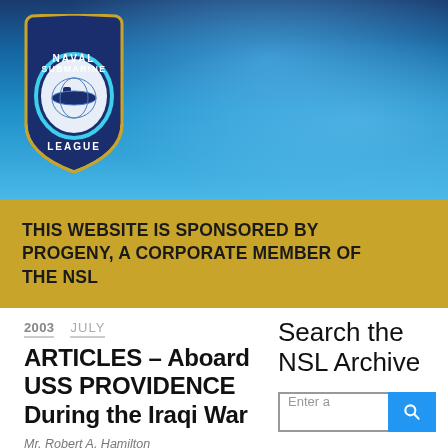[Figure (logo): Naval Submarine League shield logo with submarine imagery, blue and gold colors, on underwater ocean background banner]
THIS WEBSITE IS SPONSORED BY PROGENY, A CORPORATE MEMBER OF THE NSL
2003 JULY
ARTICLES – Aboard USS PROVIDENCE During the Iraqi War
Mr. Robert A. Hamilton
Search the NSL Archive